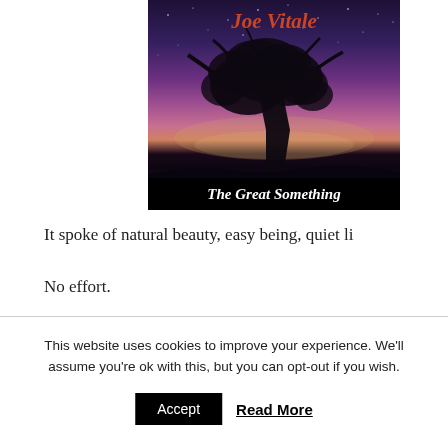[Figure (illustration): Book cover for 'The Great Something' by Joe Vitale. A large tree silhouette against a purple/pink night sky with stars. Author name 'Joe Vitale' in italic red/orange text at top. Book title 'The Great Something' in white italic bold text on black bar at bottom.]
It spoke of natural beauty, easy being, quiet li
No effort.
This website uses cookies to improve your experience. We'll assume you're ok with this, but you can opt-out if you wish.
Accept   Read More